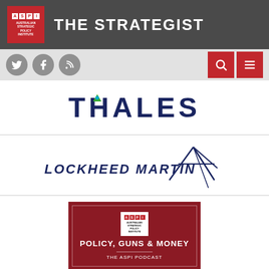THE STRATEGIST — ASPI Australian Strategic Policy Institute
[Figure (logo): Thales company logo in dark navy blue with stylized triangle accent]
[Figure (logo): Lockheed Martin company logo in dark navy blue italic bold font with star graphic]
[Figure (illustration): ASPI Policy, Guns & Money podcast card with dark red background, ASPI logo and text THE ASPI PODCAST]